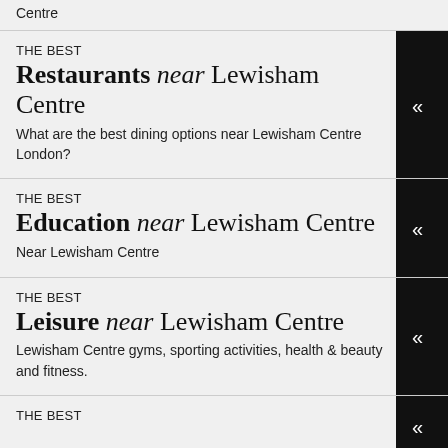Centre
THE BEST
Restaurants near Lewisham Centre
What are the best dining options near Lewisham Centre London?
THE BEST
Education near Lewisham Centre
Near Lewisham Centre
THE BEST
Leisure near Lewisham Centre
Lewisham Centre gyms, sporting activities, health & beauty and fitness.
THE BEST